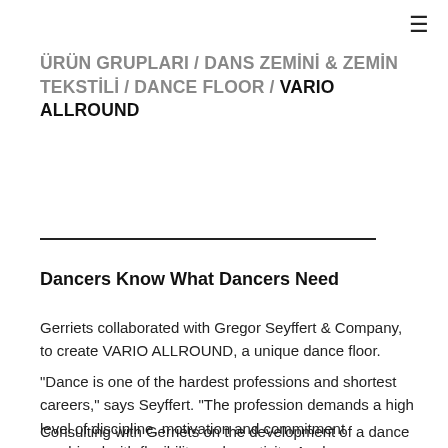≡
ÜRÜN GRUPLARI / DANS ZEMİNİ & ZEMİN TEKSTİLİ / DANCE FLOOR / VARIO ALLROUND
Dancers Know What Dancers Need
Gerriets collaborated with Gregor Seyffert & Company, to create VARIO ALLROUND, a unique dance floor.
"Dance is one of the hardest professions and shortest careers," says Seyffert. "The profession demands a high level of discipline, motivation and commitment combined with flexibility and creativity. As dancers, we need reliable partners who value the hard work we are doing as well as our health and well-being.
Consulting with Gerriets on the development of a dance floor, our primary goal was to reduce the physical strain the members of my